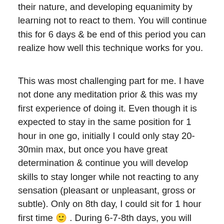their nature, and developing equanimity by learning not to react to them. You will continue this for 6 days & be end of this period you can realize how well this technique works for you.
This was most challenging part for me. I have not done any meditation prior & this was my first experience of doing it. Even though it is expected to stay in the same position for 1 hour in one go, initially I could only stay 20-30min max, but once you have great determination & continue you will develop skills to stay longer while not reacting to any sensation (pleasant or unpleasant, gross or subtle). Only on 8th day, I could sit for 1 hour first time 🙂 . During 6-7-8th days, you will experience a change within your body where your mind get very light, more energetic, reduced sleeping times-still feel very energetic next day.Here is a short extract of Teacher's talk